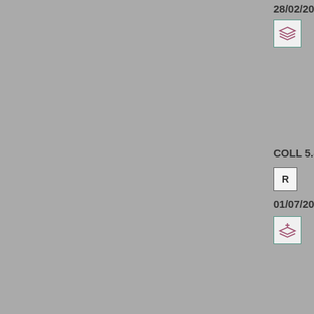28/02/2014
[Figure (other): Stack/layers icon in teal-bordered box]
constitu
than the
Other
COLL 5.8.7
R
01/07/2011
[Figure (other): Stack/layers icon with plus in teal-bordered box]
The follo
powers
provisio
UCITS a
(1) C
of ob
(2) C
(3) C
(4) C
(5) C
(6) C
(7)